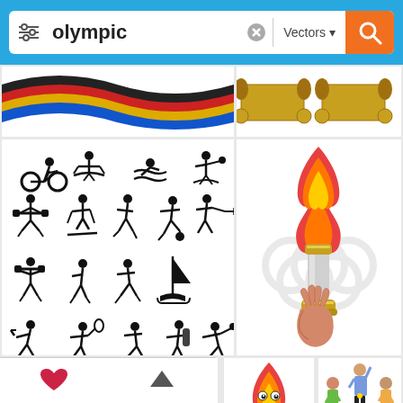[Figure (screenshot): Mobile app search interface showing search bar with 'olympic' query, Vectors filter dropdown, and orange search button on blue background]
[Figure (illustration): Colorful wavy ribbon in black, red, yellow, and blue Olympic colors]
[Figure (illustration): Gold ribbon/banner scroll decorative elements]
[Figure (illustration): Grid of black silhouette sport pictograms: cycling, kayaking, swimming, water polo, weightlifting, skiing, running, soccer, archery, golf, tennis, sailing, baseball, hiking, badminton]
[Figure (illustration): Olympic torch with flame held by a hand, with faint Olympic rings watermark in background]
[Figure (illustration): Small grid of sport pictogram icons in rounded square buttons]
[Figure (illustration): Cartoon Olympic torch character with eyes and flame]
[Figure (illustration): Three athletes on a podium with medals - gold, silver, bronze winners]